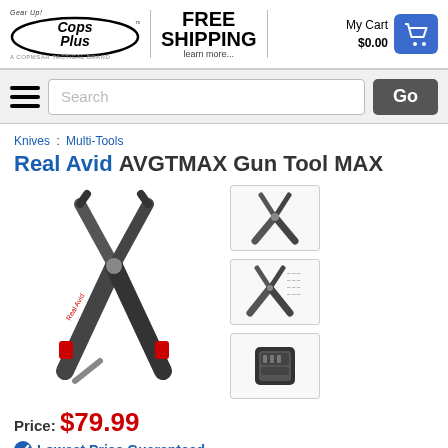Cops Plus | FREE SHIPPING learn more... | My Cart $0.00
Search | Go
Knives : Multi-Tools
Real Avid AVGTMAX Gun Tool MAX
[Figure (photo): Large main product photo of Real Avid AVGTMAX Gun Tool MAX multi-tool open, showing pliers and multiple tools]
[Figure (photo): Thumbnail 1: Front view of Real Avid Gun Tool MAX open]
[Figure (photo): Thumbnail 2: Spec/diagram sheet for Real Avid Gun Tool MAX]
[Figure (photo): Thumbnail 3: Real Avid Gun Tool MAX in holster/case]
Price: $79.99
Lowest Price Guaranteed